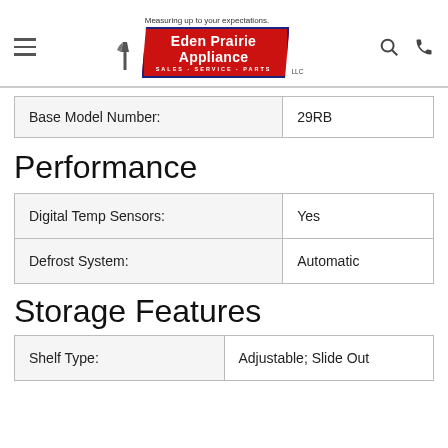Eden Prairie Appliance — Measuring up to your expectations. LLC
| Base Model Number: |  |
| --- | --- |
| Base Model Number: | 29RB |
Performance
| Feature | Value |
| --- | --- |
| Digital Temp Sensors: | Yes |
| Defrost System: | Automatic |
Storage Features
| Shelf Type: |  |
| --- | --- |
| Shelf Type: | Adjustable; Slide Out |